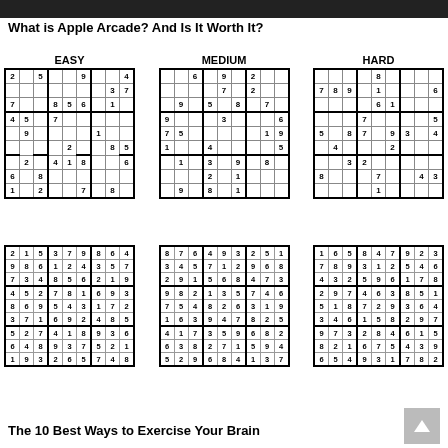What is Apple Arcade? And Is It Worth It?
[Figure (other): Three Sudoku puzzles (Easy, Medium, Hard) with their solutions below]
The 10 Best Ways to Exercise Your Brain